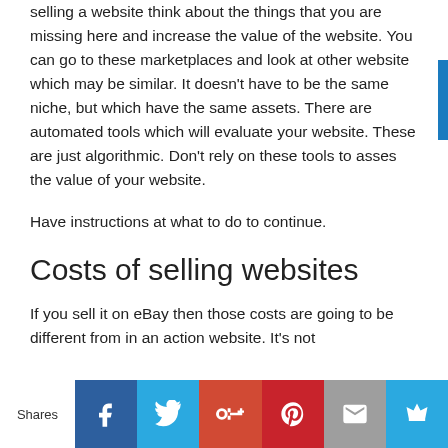selling a website think about the things that you are missing here and increase the value of the website. You can go to these marketplaces and look at other website which may be similar. It doesn't have to be the same niche, but which have the same assets. There are automated tools which will evaluate your website. These are just algorithmic. Don't rely on these tools to asses the value of your website.
Have instructions at what to do to continue.
Costs of selling websites
If you sell it on eBay then those costs are going to be different from in an action website. It's not
Shares | Facebook | Twitter | Google+ | Pinterest | Email | Crown